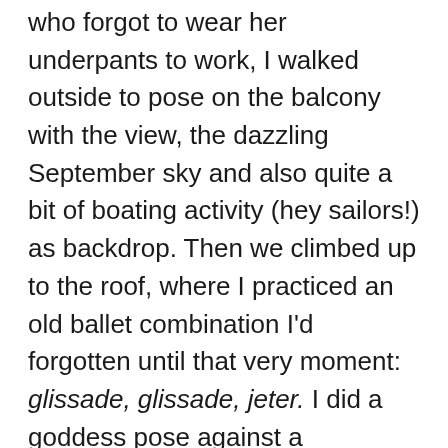who forgot to wear her underpants to work, I walked outside to pose on the balcony with the view, the dazzling September sky and also quite a bit of boating activity (hey sailors!) as backdrop. Then we climbed up to the roof, where I practiced an old ballet combination I'd forgotten until that very moment: glissade, glissade, jeter. I did a goddess pose against a cinderblock wall, burnished to a fine gold by the day's last light.
And at some point I figured out why I was doing this: It was freeing. I had stripped away everything that camouflages me during the day: my office-appropriate dress, my push-up bra,